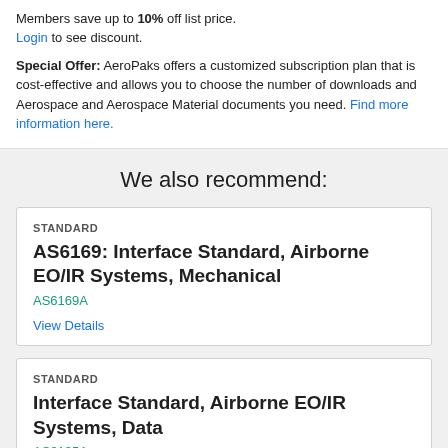Members save up to 10% off list price. Login to see discount.
Special Offer: AeroPaks offers a customized subscription plan that is cost-effective and allows you to choose the number of downloads and Aerospace and Aerospace Material documents you need. Find more information here.
We also recommend:
STANDARD
AS6169: Interface Standard, Airborne EO/IR Systems, Mechanical
AS6169A
View Details
STANDARD
Interface Standard, Airborne EO/IR Systems, Data
AS6135A
View Details